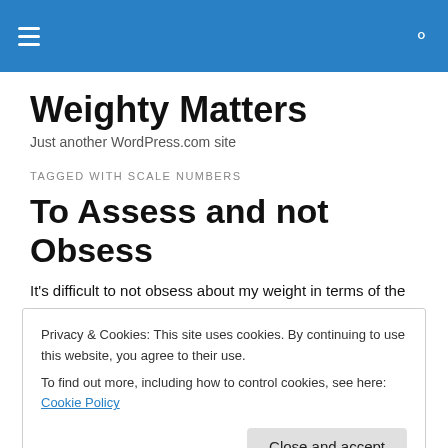Weighty Matters — site header navigation bar
Weighty Matters
Just another WordPress.com site
TAGGED WITH SCALE NUMBERS
To Assess and not Obsess
It's difficult to not obsess about my weight in terms of the
Privacy & Cookies: This site uses cookies. By continuing to use this website, you agree to their use.
To find out more, including how to control cookies, see here: Cookie Policy
Close and accept
keep a steady check on myself.